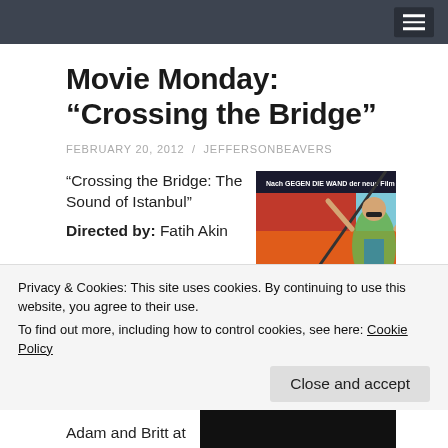Movie Monday: “Crossing the Bridge”
FEBRUARY 20, 2012 / JEFFERSONBEAVERS
“Crossing the Bridge: The Sound of Istanbul”
Directed by: Fatih Akin
[Figure (photo): Movie poster for Crossing the Bridge: The Sound of Istanbul directed by Fatih Akin, showing a dancer in colorful costume against orange and blue background. Text reads: Nach GEGEN DIE WAND der neue Film von FATIH AKIN]
Privacy & Cookies: This site uses cookies. By continuing to use this website, you agree to their use.
To find out more, including how to control cookies, see here: Cookie Policy
Close and accept
Adam and Britt at